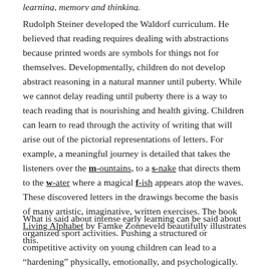learning, memory and thinking.
Rudolph Steiner developed the Waldorf curriculum. He believed that reading requires dealing with abstractions because printed words are symbols for things not for themselves. Developmentally, children do not develop abstract reasoning in a natural manner until puberty. While we cannot delay reading until puberty there is a way to teach reading that is nourishing and health giving. Children can learn to read through the activity of writing that will arise out of the pictorial representations of letters. For example, a meaningful journey is detailed that takes the listeners over the m-ountains, to a s-nake that directs them to the w-ater where a magical f-ish appears atop the waves. These discovered letters in the drawings become the basis of many artistic, imaginative, written exercises. The book Living Alphabet by Famke Zonneveld beautifully illustrates this.
What is said about intense early learning can be said about organized sport activities. Pushing a structured or competitive activity on young children can lead to a "hardening" physically, emotionally, and psychologically. The young child's body can start to lose its characteristic softness and flexibility. Aggressiveness and